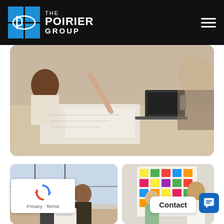[Figure (logo): The Poirier Group logo: blue tiled grid with oval P emblem, white text 'THE POIRIER GROUP', on black header bar with hamburger menu icon]
[Figure (photo): Business meeting photo: people gathered around a table with documents and a laptop, one person pointing at papers]
[Figure (photo): Two business professionals (one older man in suit, one younger man in suit) looking at documents at a desk near large windows]
[Figure (photo): Two people standing in front of a colorful sticky-note board/whiteboard in a brainstorming session]